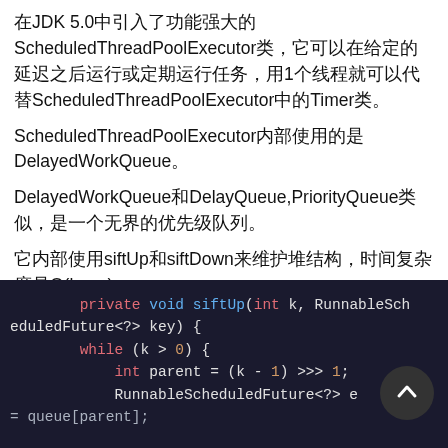在JDK 5.0中引入了功能强大的ScheduledThreadPoolExecutor类，它可以在给定的延迟之后运行或定期运行任务，用1个线程就可以代替ScheduledThreadPoolExecutor中的Timer类。
ScheduledThreadPoolExecutor内部使用的是DelayedWorkQueue。
DelayedWorkQueue和DelayQueue,PriorityQueue类似，是一个无界的优先级队列。
它内部使用siftUp和siftDown来维护堆结构，时间复杂度是O(log n)。
现在看DelayedWorkQueue的shiftUp和siftDown方法。
[Figure (screenshot): Code snippet showing private void siftUp method in Java with dark background. Shows method signature with int k and RunnableScheduledFuture<?> key parameters, while loop with k > 0 condition, int parent = (k - 1) >>> 1, and RunnableScheduledFuture<?> e = queue[parent].]